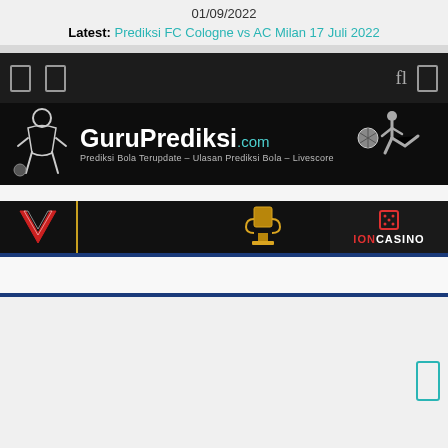01/09/2022
Latest: Prediksi FC Cologne vs AC Milan 17 Juli 2022
[Figure (screenshot): GuruPrediksi.com website header with dark navigation bar, logo banner showing soccer player silhouette, and casino advertisement banner with IONCASINO branding]
[Figure (screenshot): Casino advertisement banner with V logo on left, golden trophy center, and IONCASINO branding on the right]
[Figure (other): Small scroll-to-top button icon in teal/cyan color at bottom right]